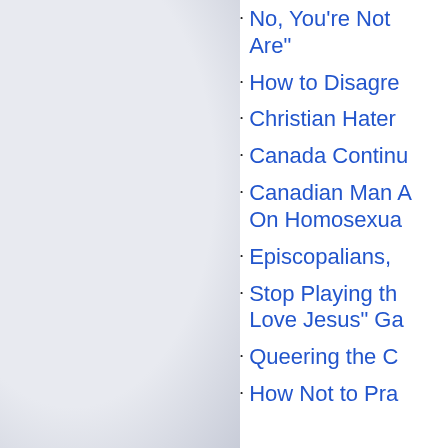[Figure (photo): Light blue-grey textured background filling the left half of the page, resembling a blank or worn paper/wall surface.]
No, You're Not Are"
How to Disagre
Christian Hater
Canada Continu
Canadian Man A On Homosexua
Episcopalians,
Stop Playing th Love Jesus" Ga
Queering the C
How Not to Pra